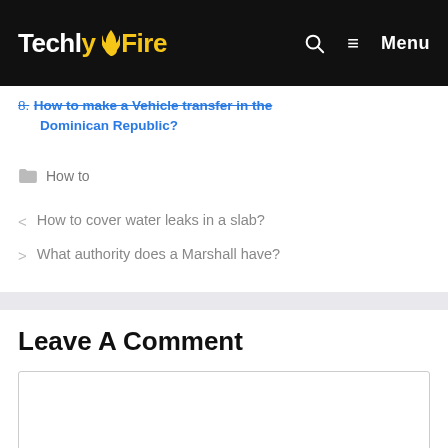TechlyFire — Menu
8. How to make a Vehicle transfer in the Dominican Republic?
How to
< How to cover water leaks in a slab?
> What authority does a Marshall have?
Leave A Comment